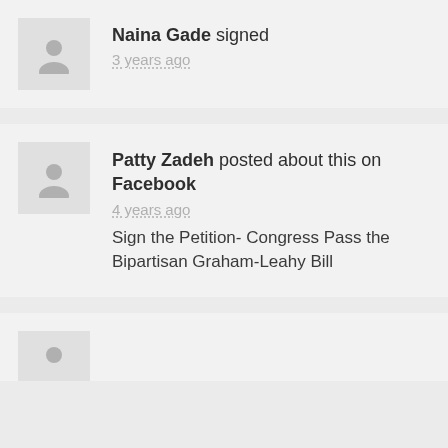[Figure (photo): Avatar placeholder icon for Naina Gade]
Naina Gade signed
3 years ago
[Figure (photo): Avatar placeholder icon for Patty Zadeh]
Patty Zadeh posted about this on Facebook
4 years ago
Sign the Petition- Congress Pass the Bipartisan Graham-Leahy Bill
[Figure (photo): Partial avatar placeholder icon at bottom]